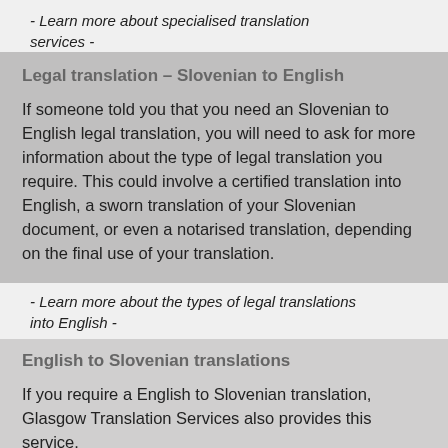- Learn more about specialised translation services -
Legal translation – Slovenian to English
If someone told you that you need an Slovenian to English legal translation, you will need to ask for more information about the type of legal translation you require. This could involve a certified translation into English, a sworn translation of your Slovenian document, or even a notarised translation, depending on the final use of your translation.
- Learn more about the types of legal translations into English -
English to Slovenian translations
If you require a English to Slovenian translation, Glasgow Translation Services also provides this service.